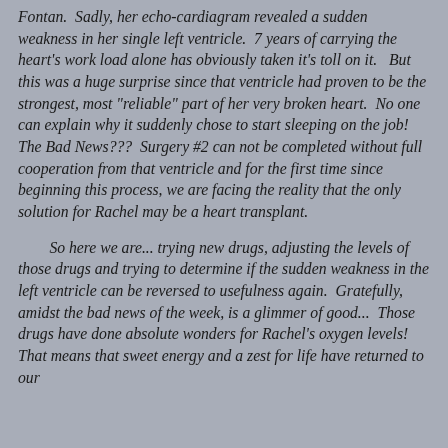Fontan.  Sadly, her echo-cardiagram revealed a sudden weakness in her single left ventricle.  7 years of carrying the heart's work load alone has obviously taken it's toll on it.   But this was a huge surprise since that ventricle had proven to be the strongest, most "reliable" part of her very broken heart.  No one can explain why it suddenly chose to start sleeping on the job!  The Bad News???  Surgery #2 can not be completed without full cooperation from that ventricle and for the first time since beginning this process, we are facing the reality that the only solution for Rachel may be a heart transplant.
So here we are... trying new drugs, adjusting the levels of those drugs and trying to determine if the sudden weakness in the left ventricle can be reversed to usefulness again.  Gratefully, amidst the bad news of the week, is a glimmer of good...  Those drugs have done absolute wonders for Rachel's oxygen levels!  That means that sweet energy and a zest for life have returned to our